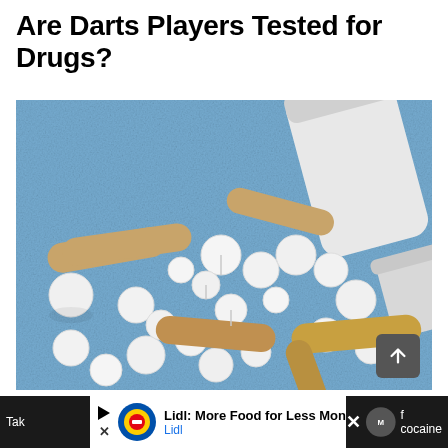Are Darts Players Tested for Drugs?
[Figure (photo): Scattered white round tablets and tan/beige capsule-shaped pills spread across a blue textured surface, with a white prescription bottle tipped on its side in the upper right corner, lid partially visible at far right.]
Tak... f cocaine
Lidl: More Food for Less Money Lidl